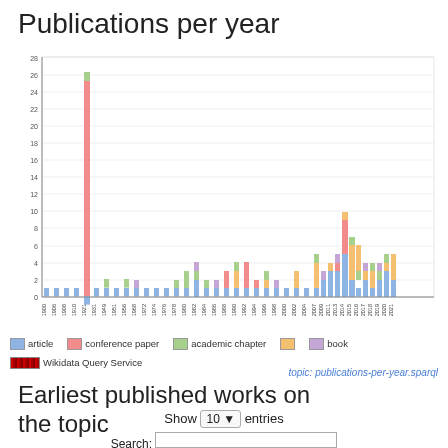Publications per year
[Figure (stacked-bar-chart): Publications per year]
topic: publications-per-year.sparql
Earliest published works on the topic
Show 10 entries
Search: